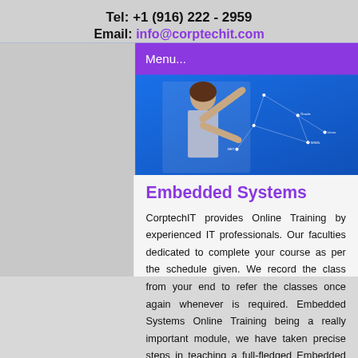Tel: +1 (916) 222 - 2959
Email: info@corptechit.com
Menu...
[Figure (photo): Woman pointing at a technology diagram with nodes labeled Oracle, Linux, WSDL, .NET on a blue background]
Embedded Systems
CorptechIT provides Online Training by experienced IT professionals. Our faculties dedicated to complete your course as per the schedule given. We record the class from your end to refer the classes once again whenever is required. Embedded Systems Online Training being a really important module, we have taken precise steps in teaching a full-fledged Embedded Systems Online Training course curriculum that covers all the concepts. Our customer support team and trainers will solve all your